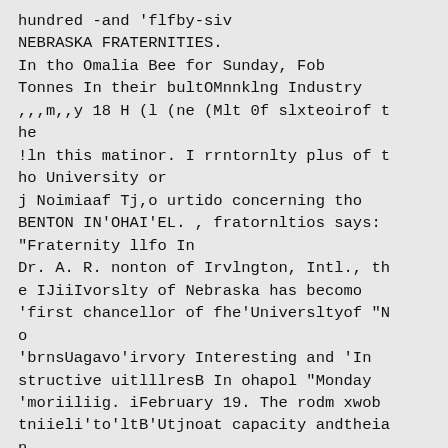hundred -and 'flfby-siv
NEBRASKA FRATERNITIES.
In tho Omalia Bee for Sunday, Fob
Tonnes In their bultOMnnklng Industry
,,,m,,y 18 H (l (ne (Mlt 0f slxteoirof t
he
!ln this matinor. I rrntornlty plus of t
ho University or
j Noimiaaf Tj,o urtido concerning tho
BENTON IN'OHAI'EL. , fratornltios says:
"Fraternity llfo In
Dr. A. R. nonton of Irvlngton, Intl., th
e IJiiIvorslty of Nebraska has becomo
'first chancellor of fhe'Universltyof "N
o
'brnsUagavo'irvory Interesting and 'In
structive uitlllresB In ohapol "Monday
'moriiliig. iFebruary 19. The rodm xwob
tniieli'to'ltB'Utjnoat capacity andtheia
n